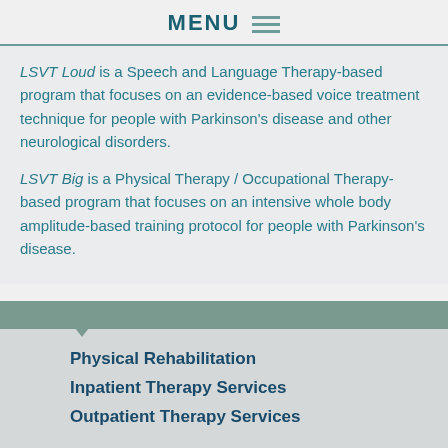MENU
LSVT Loud is a Speech and Language Therapy-based program that focuses on an evidence-based voice treatment technique for people with Parkinson’s disease and other neurological disorders.
LSVT Big is a Physical Therapy / Occupational Therapy-based program that focuses on an intensive whole body amplitude-based training protocol for people with Parkinson’s disease.
Physical Rehabilitation
Inpatient Therapy Services
Outpatient Therapy Services